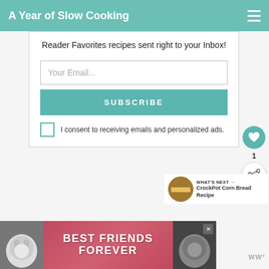A Year of Slow Cooking
Reader Favorites recipes sent right to your Inbox!
Your Email...
SUBSCRIBE
I consent to receiving emails and personalized ads.
1
WHAT'S NEXT → CrockPot Corn Bread Recipe
[Figure (photo): Advertisement banner showing two cats with text BEST FRIENDS FOREVER]
WW°